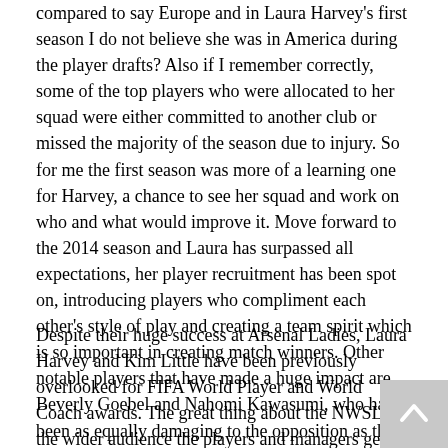compared to say Europe and in Laura Harvey's first season I do not believe she was in America during the player drafts? Also if I remember correctly, some of the top players who were allocated to her squad were either committed to another club or missed the majority of the season due to injury. So for me the first season was more of a learning one for Harvey, a chance to see her squad and work on who and what would improve it. Move forward to the 2014 season and Laura has surpassed all expectations, her player recruitment has been spot on, introducing players who compliment each other's style of play and creating a team spirit which is so important in creating match winners. Other notable players that have made a huge impact are Beverly Goebel and Nahomi Kawasumi, who have been as equally damaging to the opposition as they were when playing for Japanese champions INAC Kobe.
Despite their huge success at Arsenal Ladies, Laura Harvey and Kim Little have been previously overlooked for FIFA World Player and World Coach awards. The great thing about the NWSL is the wider audience the players and managers get to showcase their talents to. In return, I hope the...